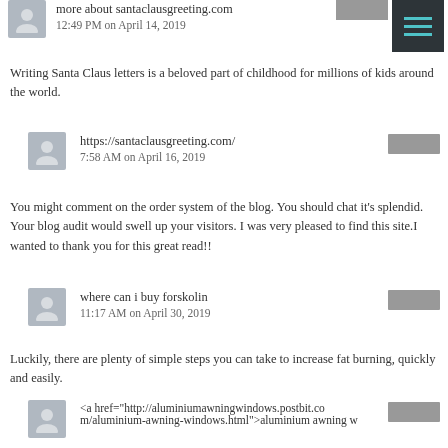more about santaclausgreeting.com
12:49 PM on April 14, 2019
Writing Santa Claus letters is a beloved part of childhood for millions of kids around the world.
https://santaclausgreeting.com/
7:58 AM on April 16, 2019
You might comment on the order system of the blog. You should chat it's splendid. Your blog audit would swell up your visitors. I was very pleased to find this site.I wanted to thank you for this great read!!
where can i buy forskolin
11:17 AM on April 30, 2019
Luckily, there are plenty of simple steps you can take to increase fat burning, quickly and easily.
<a href="http://aluminiumawningwindows.postbit.com/aluminium-awning-windows.html">aluminium awning w
6:56 AM on May 6, 2019
Apart from selling used pallets, we also offer our clients a pallet repair and refurbishing service.